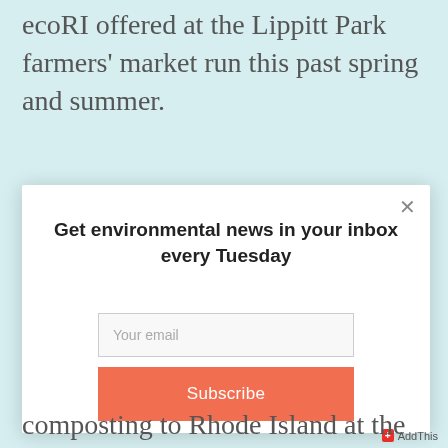ecoRI offered at the Lippitt Park farmers' market run this past spring and summer.
Get environmental news in your inbox every Tuesday
Your email
Subscribe
composting to Rhode Island at the